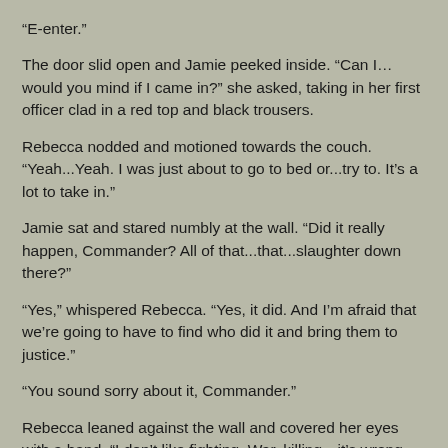“E-enter.”
The door slid open and Jamie peeked inside. “Can I… would you mind if I came in?” she asked, taking in her first officer clad in a red top and black trousers.
Rebecca nodded and motioned towards the couch. “Yeah...Yeah. I was just about to go to bed or...try to. It’s a lot to take in.”
Jamie sat and stared numbly at the wall. “Did it really happen, Commander? All of that...that...slaughter down there?”
“Yes,” whispered Rebecca. “Yes, it did. And I’m afraid that we’re going to have to find who did it and bring them to justice.”
“You sound sorry about it, Commander.”
Rebecca leaned against the wall and covered her eyes with a hand. “I don’t like fighting. War, killing—it’s wrong. And I’m afraid we’ve been put in a position where the captain will think it’s necessary.” She dropped her hand and let her